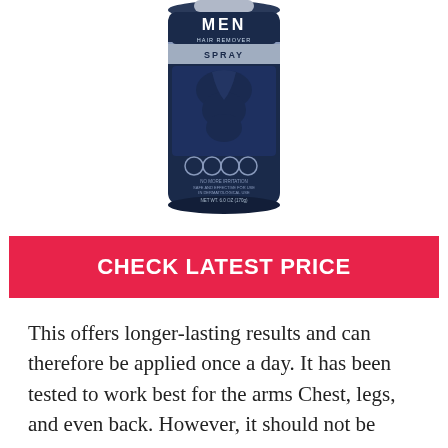[Figure (photo): A dark navy blue spray can product for men's hair removal, labeled 'MEN HAIR REMOVER SPRAY' with an image of a male torso and icons on the front. NET WT. 6.0 OZ (170g).]
CHECK LATEST PRICE
This offers longer-lasting results and can therefore be applied once a day. It has been tested to work best for the arms Chest, legs, and even back. However, it should not be